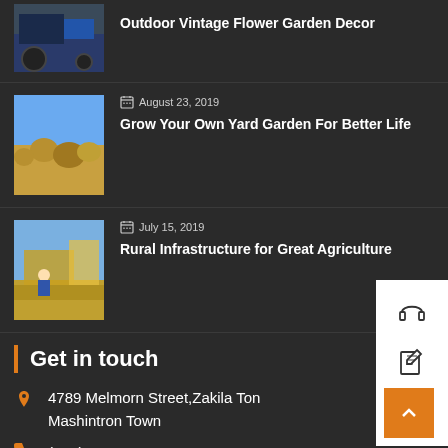[Figure (photo): Thumbnail of a tractor, partial view at top]
Outdoor Vintage Flower Garden Decor
[Figure (photo): Hay bales in a field under blue sky]
August 23, 2019
Grow Your Own Yard Garden For Better Life
[Figure (photo): Worker harvesting grain on a farm machine]
July 15, 2019
Rural Infrastructure for Great Agriculture
[Figure (infographic): Sidebar with headphone, edit, and cart icons]
Get in touch
4789 Melmorn Street,Zakila Ton Mashintron Town
(+01) 123 456 7890